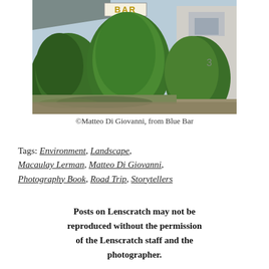[Figure (photo): Outdoor photograph showing large rounded evergreen shrubs/trees in front of a building. A sign reading 'BAR' is partially visible in the upper portion. The scene appears to be taken near a street or parking area.]
©Matteo Di Giovanni, from Blue Bar
Tags: Environment, Landscape, Macaulay Lerman, Matteo Di Giovanni, Photography Book, Road Trip, Storytellers
Posts on Lenscratch may not be reproduced without the permission of the Lenscratch staff and the photographer.